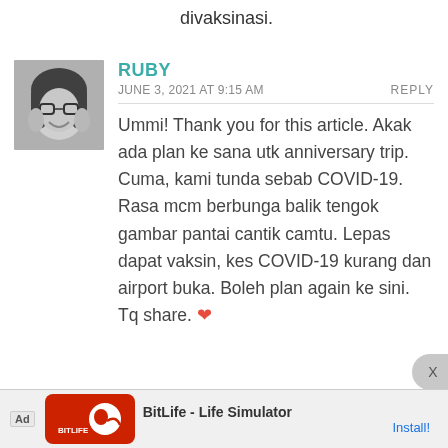divaksinasi.
[Figure (photo): Black and white profile photo of a woman wearing a hijab and glasses, smiling with hands on cheeks]
RUBY
JUNE 3, 2021 AT 9:15 AM
REPLY
Ummi! Thank you for this article. Akak ada plan ke sana utk anniversary trip. Cuma, kami tunda sebab COVID-19. Rasa mcm berbunga balik tengok gambar pantai cantik camtu. Lepas dapat vaksin, kes COVID-19 kurang dan airport buka. Boleh plan again ke sini. Tq share. ❤
Ad   BitLife - Life Simulator   Install!